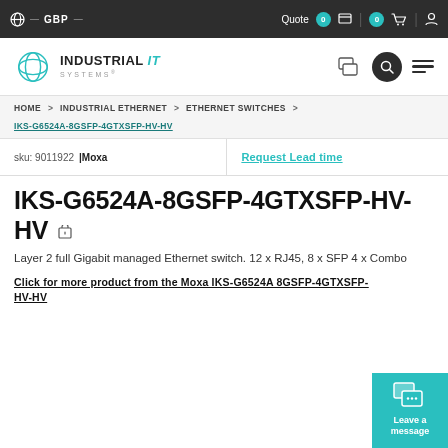GBP  |  Quote 0  |  0
[Figure (logo): Industrial IT Systems logo with teal globe/orbit graphic]
HOME > INDUSTRIAL ETHERNET > ETHERNET SWITCHES > IKS-G6524A-8GSFP-4GTXSFP-HV-HV
sku: 9011922 | Moxa
Request Lead time
IKS-G6524A-8GSFP-4GTXSFP-HV-HV
Layer 2 full Gigabit managed Ethernet switch. 12 x RJ45, 8 x SFP 4 x Combo
Click for more product from the Moxa IKS-G6524A 8GSFP-4GTXSFP-HV-HV